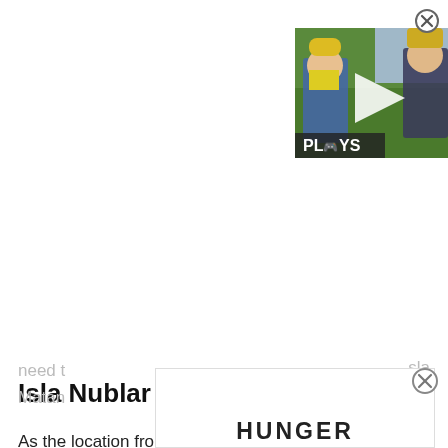[Figure (screenshot): A video thumbnail showing two video game characters (Final Fantasy style) on a green field, with a play button overlay and 'PLAYS' branding in the lower left. A close (X) button is in the upper right corner.]
Isla Nublar
As the location from the first movie, Isla Nublar is a sandbox of infinite possibility, making it an open playground for all your dinosaur park needs. There are a few challenges here, though the option for unlimited money and things like that really give you a ton of room to work. Unlocking this island isn't too difficult, as you'll need t...sla Matan...
[Figure (screenshot): Bottom advertisement overlay showing partial text 'HUNGER' in bold, with a white box and a close (x) button on the right side.]